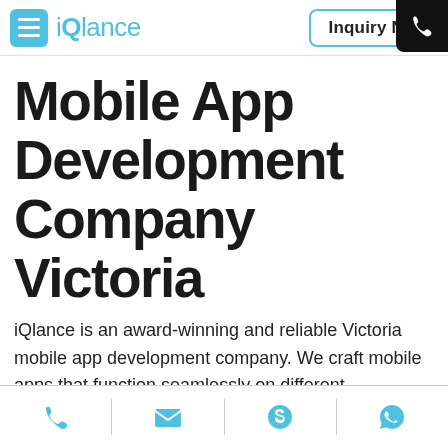iQlance | Inquiry Now
Mobile App Development Company Victoria
iQlance is an award-winning and reliable Victoria mobile app development company. We craft mobile apps that function seamlessly on different smartphone screens. Mobile apps developed by us are loaded with the latest